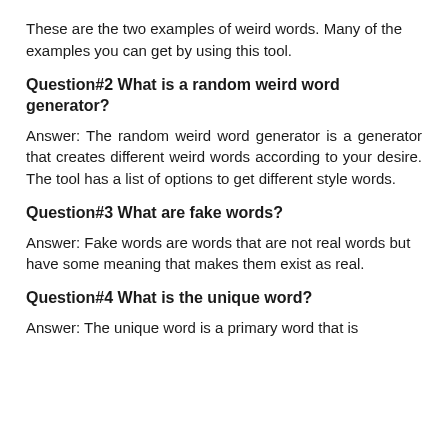These are the two examples of weird words. Many of the examples you can get by using this tool.
Question#2 What is a random weird word generator?
Answer: The random weird word generator is a generator that creates different weird words according to your desire. The tool has a list of options to get different style words.
Question#3 What are fake words?
Answer: Fake words are words that are not real words but have some meaning that makes them exist as real.
Question#4 What is the unique word?
Answer: The unique word is a primary word that is